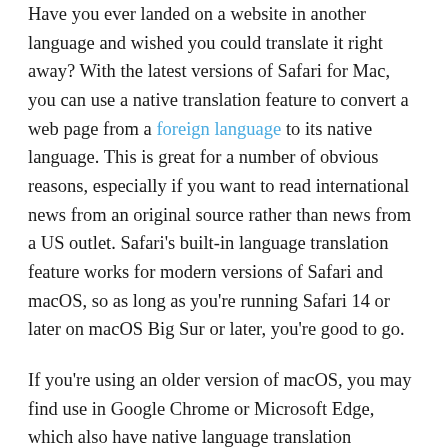Have you ever landed on a website in another language and wished you could translate it right away? With the latest versions of Safari for Mac, you can use a native translation feature to convert a web page from a foreign language to its native language. This is great for a number of obvious reasons, especially if you want to read international news from an original source rather than news from a US outlet. Safari's built-in language translation feature works for modern versions of Safari and macOS, so as long as you're running Safari 14 or later on macOS Big Sur or later, you're good to go.
If you're using an older version of macOS, you may find use in Google Chrome or Microsoft Edge, which also have native language translation capabilities, or you may use an iPhone or iPad if you're using modern system software that has Safari for iOS and iPadOS also have the translation feature. Once iOS 14 and macOS Big Sur are released this fall, it will be possible to translate an entire web page to or from the following languages: English, Spanish, Simplified Chinese, French, German, Russian or Brazilian Portuguese. The new website translation feature will initially be in beta, even though